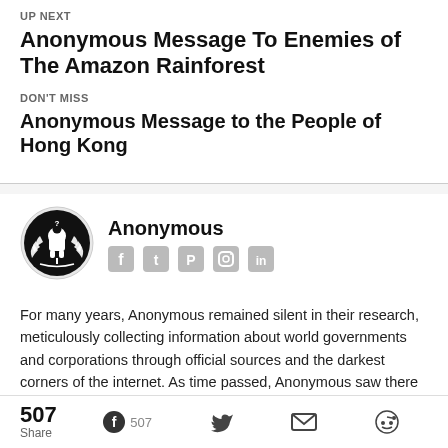UP NEXT
Anonymous Message To Enemies of The Amazon Rainforest
DON'T MISS
Anonymous Message to the People of Hong Kong
[Figure (logo): Anonymous logo — circular emblem with suited figure and laurel wreath on black background]
Anonymous
[Figure (infographic): Social media icons: Facebook, Twitter, Pinterest, Instagram, LinkedIn]
For many years, Anonymous remained silent in their research, meticulously collecting information about world governments and corporations through official sources and the darkest corners of the internet. As time passed, Anonymous saw there were many pieces missing from the coverage of global events in the media, so they were inspired to start sharing their research with the world. Anonymous then began creating media of their own, while preparing f
507 Share  507  (Facebook, Twitter, Mail, Reddit icons)